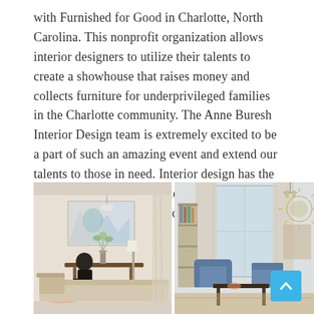with Furnished for Good in Charlotte, North Carolina. This nonprofit organization allows interior designers to utilize their talents to create a showhouse that raises money and collects furniture for underprivileged families in the Charlotte community. The Anne Buresh Interior Design team is extremely excited to be a part of such an amazing event and extend our talents to those in need. Interior design has the ability to transform lifestyles and can create a safe, comfortable space to call home.
[Figure (photo): Interior design showroom photo showing a person seated in a furnished living room with abstract wall art, pendant lighting, a wooden console table, and decorative plants.]
[Figure (photo): Interior design showroom photo showing a furnished living room with blue armchairs, a dark coffee table, tall bookshelf, large windows with drapes, and a sunburst mirror on the wall.]